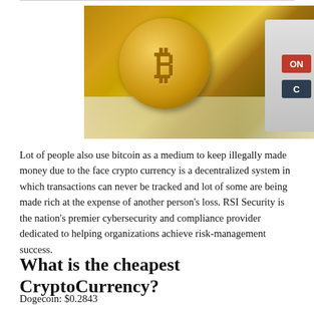[Figure (photo): A gold Bitcoin coin resting on US dollar bills next to a calculator, showing a closeup of the coin's B symbol and calculator keys including ON and C]
Lot of people also use bitcoin as a medium to keep illegally made money due to the face crypto currency is a decentralized system in which transactions can never be tracked and lot of some are being made rich at the expense of another person's loss. RSI Security is the nation's premier cybersecurity and compliance provider dedicated to helping organizations achieve risk-management success.
What is the cheapest CryptoCurrency?
Dogecoin: $0.2843